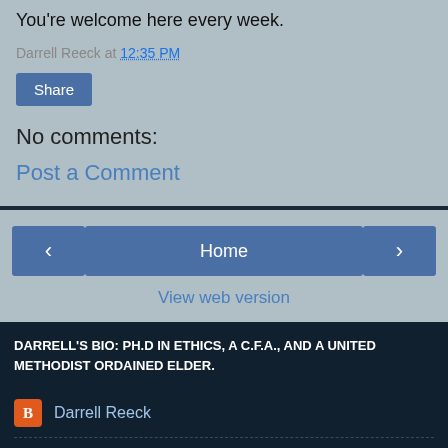You're welcome here every week.
Darrell Reeck at 12:35 PM
Share
No comments:
Post a Comment
Home
View web version
DARRELL'S BIO: PH.D IN ETHICS, A C.F.A., AND A UNITED METHODIST ORDAINED ELDER.
Darrell Reeck
Unknown
Powered by Blogger.